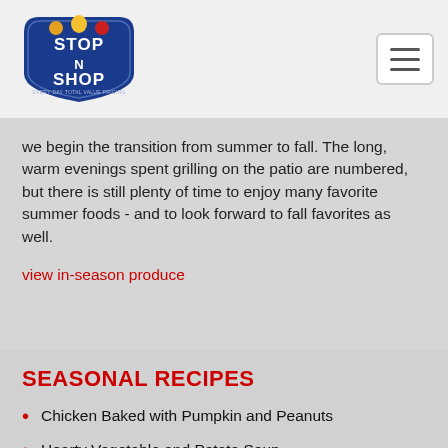[Figure (logo): Stop N Shop grocery store logo — blue shield shape with red and white text]
we begin the transition from summer to fall. The long, warm evenings spent grilling on the patio are numbered, but there is still plenty of time to enjoy many favorite summer foods - and to look forward to fall favorites as well.
view in-season produce
SEASONAL RECIPES
Chicken Baked with Pumpkin and Peanuts
Hearty Vegetable and Potato Soup
Tuscan Lamb Ragu
Honey Basted Turkey
Apple Raisin Stuffing